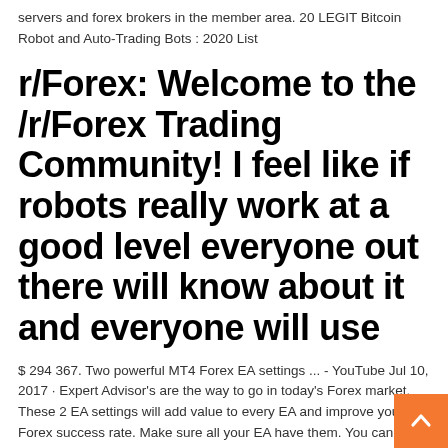servers and forex brokers in the member area. 20 LEGIT Bitcoin Robot and Auto-Trading Bots : 2020 List
r/Forex: Welcome to the /r/Forex Trading Community! I feel like if robots really work at a good level everyone out there will know about it and everyone will use
$ 294 367. Two powerful MT4 Forex EA settings ... - YouTube Jul 10, 2017 · Expert Advisor's are the way to go in today's Forex market. These 2 EA settings will add value to every EA and improve your Forex success rate. Make sure all your EA have them. You can use your Best Forex Robots Based On Real